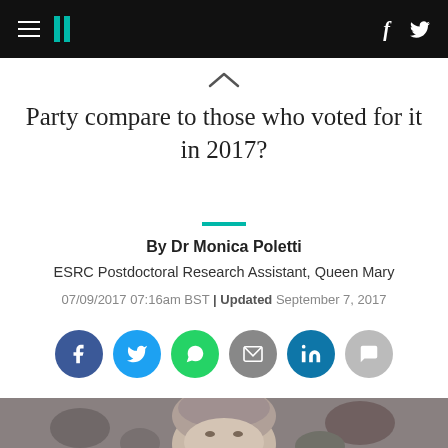HuffPost UK header with hamburger menu, logo, facebook and twitter icons
Party compare to those who voted for it in 2017?
By Dr Monica Poletti
ESRC Postdoctoral Research Assistant, Queen Mary
07/09/2017 07:16am BST | Updated September 7, 2017
[Figure (infographic): Social sharing buttons row: Facebook, Twitter, WhatsApp, Email, LinkedIn, Comment]
[Figure (photo): Photograph of Theresa May, partially visible from shoulders up, with crowd in background]